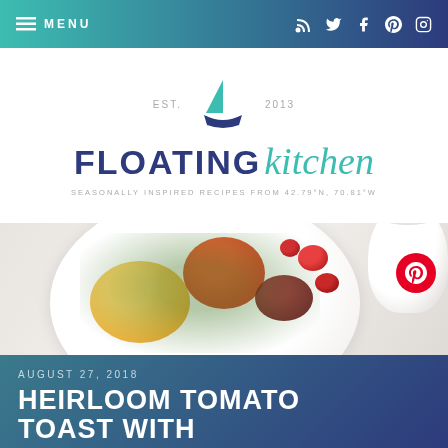MENU (navigation icons: RSS, Twitter, Facebook, Pinterest, Instagram)
[Figure (logo): Floating Kitchen logo with sailboat. EST. 2013. FLOATING kitchen in navy and teal. Tagline: SEASONALLY INSPIRED RECIPES FROM 42.79°N, 70.81°W]
[Figure (photo): Overhead food photo of heirloom tomato toast on a white plate with colorful tomatoes and green herb sauce, with a cup/bowl in upper right corner. Pinterest overlay button visible.]
AUGUST 27, 2018
HEIRLOOM TOMATO TOAST WITH